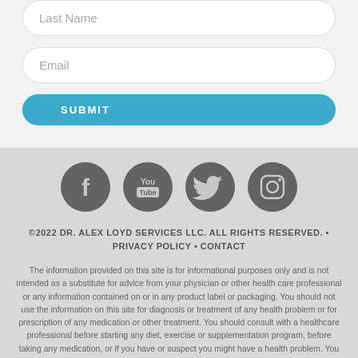Last Name
Email
SUBMIT
[Figure (infographic): Social media icons: Facebook, YouTube, Twitter, Instagram — dark gray circular icons]
©2022 DR. ALEX LOYD SERVICES LLC. ALL RIGHTS RESERVED. • PRIVACY POLICY • CONTACT
The information provided on this site is for informational purposes only and is not intended as a substitute for advice from your physician or other health care professional or any information contained on or in any product label or packaging. You should not use the information on this site for diagnosis or treatment of any health problem or for prescription of any medication or other treatment. You should consult with a healthcare professional before starting any diet, exercise or supplementation program, before taking any medication, or if you have or suspect you might have a health problem. You should not stop taking